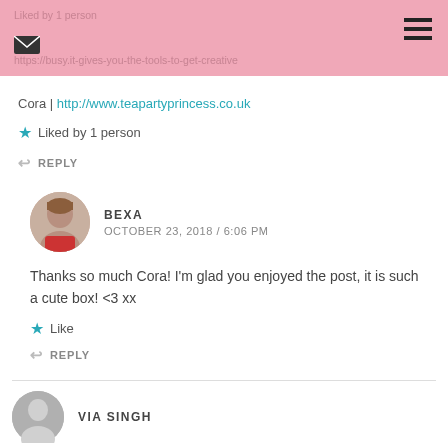Liked by 1 person
https://busy.it-gives-you-the-tools-to-get-creative
Cora | http://www.teapartyprincess.co.uk
Liked by 1 person
REPLY
BEXA
OCTOBER 23, 2018 / 6:06 PM
Thanks so much Cora! I'm glad you enjoyed the post, it is such a cute box! <3 xx
Like
REPLY
VIA SINGH